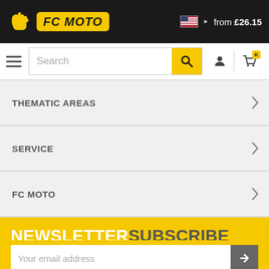[Figure (logo): FC Moto logo with glove icon on dark background header, with US flag and 'from £26.15' text]
[Figure (screenshot): Navigation bar with hamburger menu, search box, user icon, and cart icon]
THEMATIC AREAS
SERVICE
FC MOTO
NEWSLETTERSUBSCRIBE
Your email address
Subscribe to the newsletter & secure yourself attractive advantages:
- Exclusive offers, new products & trends
- Attractive discounts, bargains & vouchers